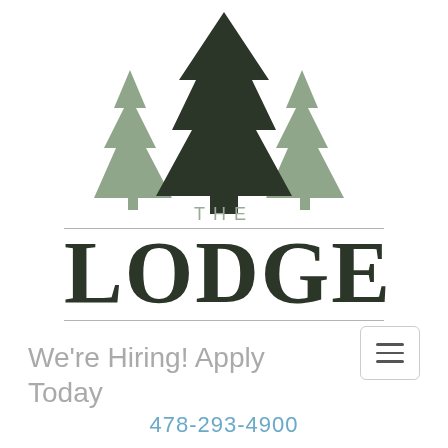[Figure (logo): Three pine/fir tree silhouettes: two lighter sage-green trees on the sides and one larger dark green tree in the center, forming a forest logo graphic]
THE LODGE
We're Hiring! Apply Today
478-293-4900